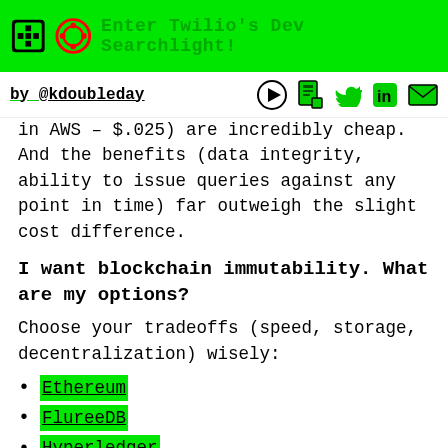Enter Twilio's Dev Searchlight!
by @kdoubleday
in AWS – $.025) are incredibly cheap. And the benefits (data integrity, ability to issue queries against any point in time) far outweigh the slight cost difference.
I want blockchain immutability. What are my options?
Choose your tradeoffs (speed, storage, decentralization) wisely:
Ethereum
FlureeDB
Hyperledger
R3 Corda